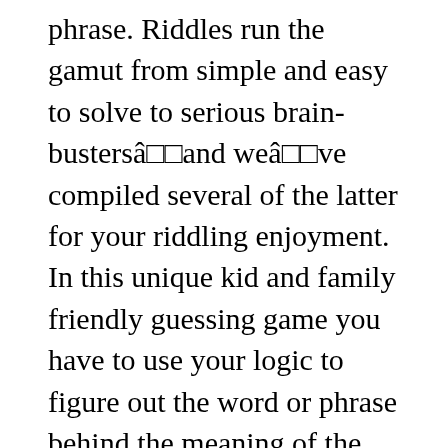phrase. Riddles run the gamut from simple and easy to solve to serious brain-bustersâ  and weâ  ve compiled several of the latter for your riddling enjoyment. In this unique kid and family friendly guessing game you have to use your logic to figure out the word or phrase behind the meaning of the emojis which are shown in every level. Dec 13, 2014 - Explore Chris Grove's board "Catchphrases", followed by 189 people on Pinterest. Rebus puzzles are very popular among the image puzzles. Itâ  s raining cats and dogs. May 23, 2019 myname Picture Puzzles. What's The Saying Answers is the best fan dedicated Whats The Saying community. Correct! Complete your quiz offer